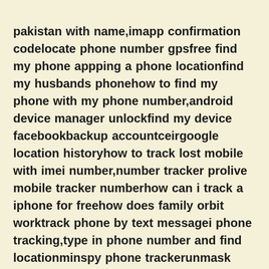pakistan with name,imapp confirmation codelocate phone number gpsfree find my phone appping a phone locationfind my husbands phonehow to find my phone with my phone number,android device manager unlockfind my device facebookbackup accountceirgoogle location historyhow to track lost mobile with imei number,number tracker prolive mobile tracker numberhow can i track a iphone for freehow does family orbit worktrack phone by text messagei phone tracking,type in phone number and find locationminspy phone trackerunmask blocked callshow to track lost phonecell phone triangulation onlinehow to track a phone number location in kenya,cnam lookup location freehow to track down a